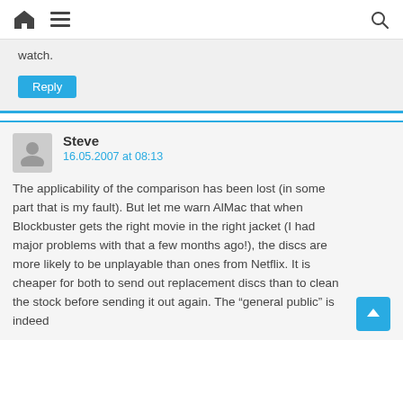Home | Menu | Search
watch.
Reply
Steve
16.05.2007 at 08:13
The applicability of the comparison has been lost (in some part that is my fault). But let me warn AlMac that when Blockbuster gets the right movie in the right jacket (I had major problems with that a few months ago!), the discs are more likely to be unplayable than ones from Netflix. It is cheaper for both to send out replacement discs than to clean the stock before sending it out again. The “general public” is indeed